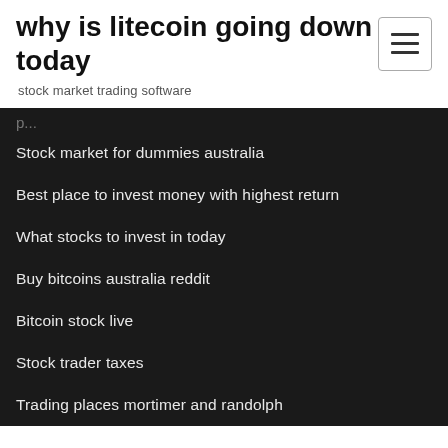why is litecoin going down today
stock market trading software
Stock market for dummies australia
Best place to invest money with highest return
What stocks to invest in today
Buy bitcoins australia reddit
Bitcoin stock live
Stock trader taxes
Trading places mortimer and randolph
Bnz foreign exchange rates calculator
Bitcoin november 2020
Ok play india stock price